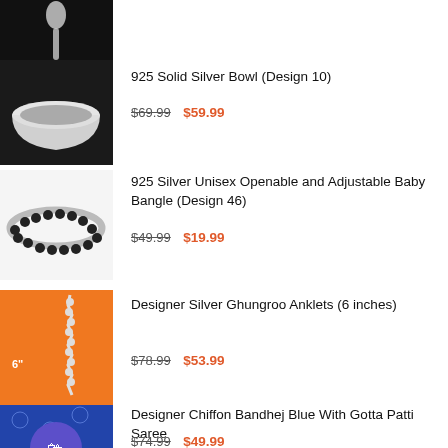[Figure (photo): Silver spoon on black background, partially visible at top]
[Figure (photo): 925 Solid Silver Bowl (Design 10) - a silver bowl on dark background]
925 Solid Silver Bowl (Design 10)
$69.99  $59.99
[Figure (photo): Silver bangle with black bead accents on white background]
925 Silver Unisex Openable and Adjustable Baby Bangle (Design 46)
$49.99  $19.99
[Figure (photo): Designer Silver Ghungroo Anklets on orange background with 6 inch measurement label]
Designer Silver Ghungroo Anklets (6 inches)
$78.99  $53.99
[Figure (photo): Designer Chiffon Bandhej Blue saree with purple cart icon overlay]
Designer Chiffon Bandhej Blue With Gotta Patti Saree
$74.99  $49.99